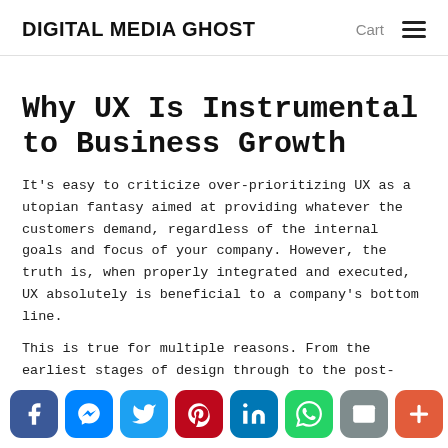DIGITAL MEDIA GHOST
Why UX Is Instrumental to Business Growth
It’s easy to criticize over-prioritizing UX as a utopian fantasy aimed at providing whatever the customers demand, regardless of the internal goals and focus of your company. However, the truth is, when properly integrated and executed, UX absolutely is beneficial to a company’s bottom line.
This is true for multiple reasons. From the earliest stages of design through to the post-